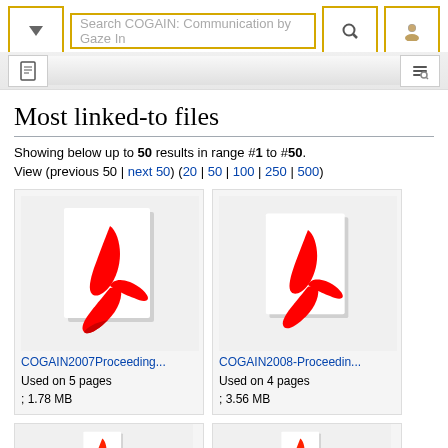[Figure (screenshot): Wikipedia/MediaWiki navigation bar with dropdown arrow, search box reading 'Search COGAIN: Communication by Gaze In', magnifier icon, and user icon, all with gold/yellow borders]
[Figure (screenshot): Secondary toolbar with document icon on left and tools icon on right, gray gradient background]
Most linked-to files
Showing below up to 50 results in range #1 to #50.
View (previous 50 | next 50) (20 | 50 | 100 | 250 | 500)
[Figure (screenshot): PDF file thumbnail for COGAIN2007Proceeding... showing Adobe Acrobat PDF icon (red logo on white page with shadow) inside a light gray bordered box]
COGAIN2007Proceeding...
Used on 5 pages
; 1.78 MB
[Figure (screenshot): PDF file thumbnail for COGAIN2008-Proceedin... showing Adobe Acrobat PDF icon (red logo on white page with shadow) inside a light gray bordered box]
COGAIN2008-Proceedin...
Used on 4 pages
; 3.56 MB
[Figure (screenshot): Two partially visible PDF file thumbnails at bottom of page, cut off]